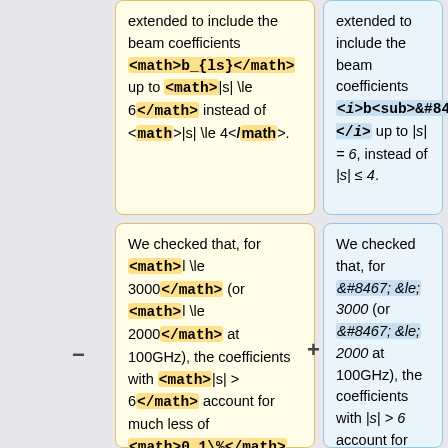extended to include the beam coefficients <math>b_{ls}</math> up to <math>|s| \le 6</math> instead of <math>|s| \le 4</math>.
extended to include the beam coefficients <i>b<sub>&#8467;s</sub></i> up to <i>|s| = 6</i>, instead of <i>|s| &le; 4</i>.
We checked that, for <math>l \le 3000</math> (or <math>l \le 2000</math> at 100GHz), the coefficients with <math>|s| > 6</math> account for much less of <math>0.1\%</math> of the beam solid angle.
We checked that, for <i>&#8467; &le; 3000</i> (or <i>&#8467; &le; 2000</i> at 100GHz), the coefficients with <i>|s| > 6</i> account for much less of 0.1% of the beam solid angle.